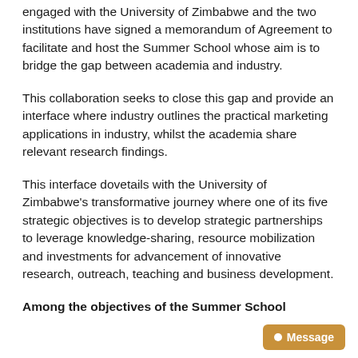engaged with the University of Zimbabwe and the two institutions have signed a memorandum of Agreement to facilitate and host the Summer School whose aim is to bridge the gap between academia and industry.
This collaboration seeks to close this gap and provide an interface where industry outlines the practical marketing applications in industry, whilst the academia share relevant research findings.
This interface dovetails with the University of Zimbabwe's transformative journey where one of its five strategic objectives is to develop strategic partnerships to leverage knowledge-sharing, resource mobilization and investments for advancement of innovative research, outreach, teaching and business development.
Among the objectives of the Summer School